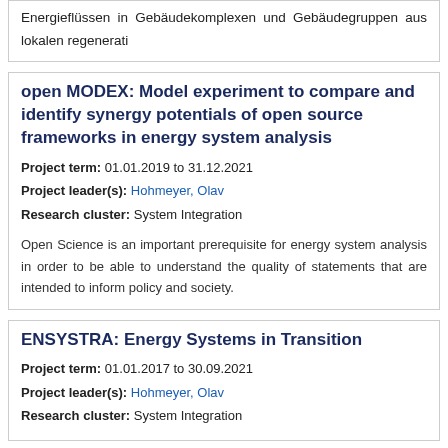Energieflüssen in Gebäudekomplexen und Gebäudegruppen aus lokalen regenerati
open MODEX: Model experiment to compare and identify synergy potentials of open source frameworks in energy system analysis
Project term: 01.01.2019 to 31.12.2021
Project leader(s): Hohmeyer, Olav
Research cluster: System Integration
Open Science is an important prerequisite for energy system analysis in order to be able to understand the quality of statements that are intended to inform policy and society.
ENSYSTRA: Energy Systems in Transition
Project term: 01.01.2017 to 30.09.2021
Project leader(s): Hohmeyer, Olav
Research cluster: System Integration